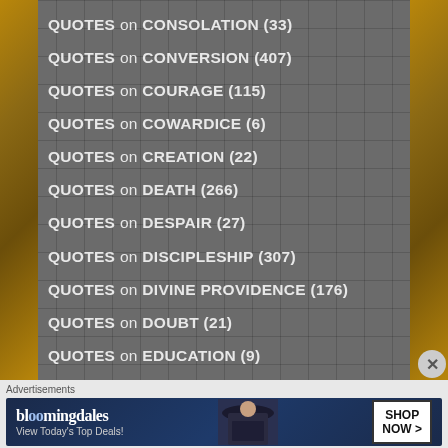QUOTES on CONSOLATION (33)
QUOTES on CONVERSION (407)
QUOTES on COURAGE (115)
QUOTES on COWARDICE (6)
QUOTES on CREATION (22)
QUOTES on DEATH (266)
QUOTES on DESPAIR (27)
QUOTES on DISCIPLESHIP (307)
QUOTES on DIVINE PROVIDENCE (176)
QUOTES on DOUBT (21)
QUOTES on EDUCATION (9)
Advertisements
[Figure (other): Bloomingdale's advertisement banner with text 'bloomingdales', 'View Today's Top Deals!' and 'SHOP NOW >' button, featuring a woman in a wide-brimmed hat]